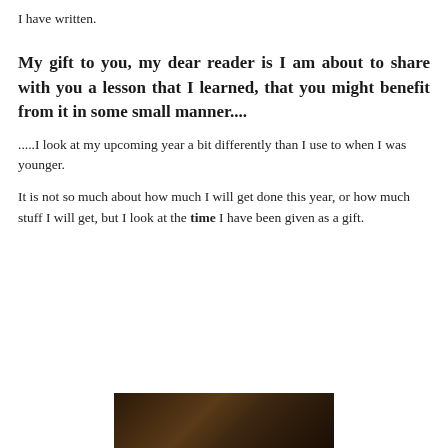I have written.
My gift to you, my dear reader is I am about to share with you a lesson that I learned, that you might benefit from it in some small manner....
.....I look at my upcoming year a bit differently than I use to when I was younger.
It is not so much about how much I will get done this year, or how much stuff I will get, but I look at the time I have been given as a gift.
[Figure (photo): Dark-toned photograph at the bottom of the page, partially visible]